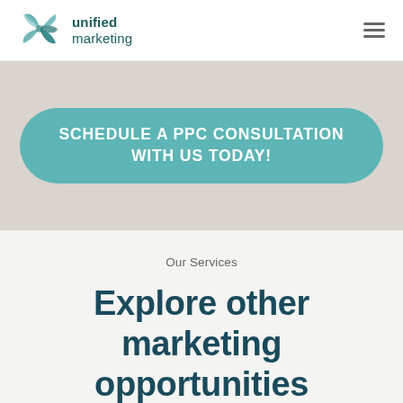[Figure (logo): Unified Marketing logo with teal leaf/pinwheel icon and text 'unified marketing']
SCHEDULE A PPC CONSULTATION WITH US TODAY!
Our Services
Explore other marketing opportunities